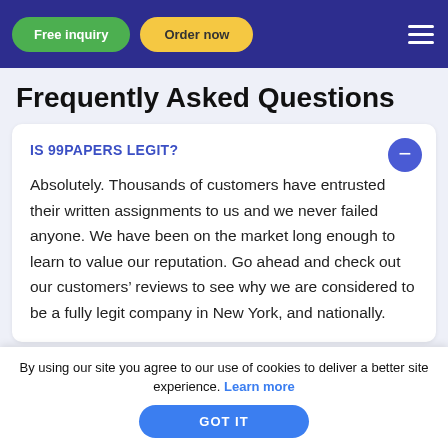Free inquiry | Order now
Frequently Asked Questions
IS 99PAPERS LEGIT?
Absolutely. Thousands of customers have entrusted their written assignments to us and we never failed anyone. We have been on the market long enough to learn to value our reputation. Go ahead and check out our customers' reviews to see why we are considered to be a fully legit company in New York, and nationally.
By using our site you agree to our use of cookies to deliver a better site experience. Learn more